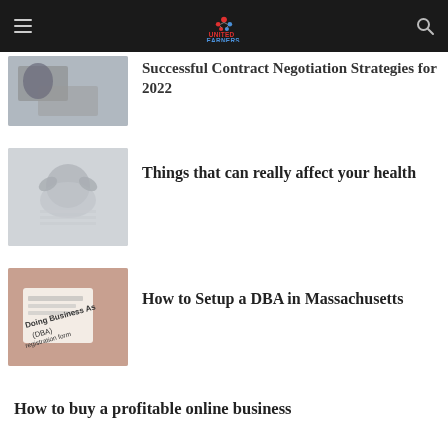United Earners
Successful Contract Negotiation Strategies for 2022
Things that can really affect your health
How to Setup a DBA in Massachusetts
How to buy a profitable online business
How to start a wedding planner